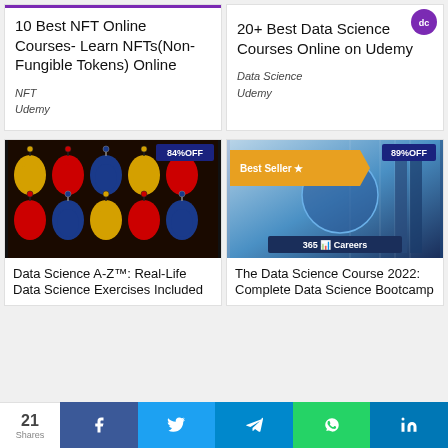[Figure (screenshot): Purple top bar on card]
10 Best NFT Online Courses- Learn NFTs(Non-Fungible Tokens) Online
NFT
Udemy
[Figure (logo): Purple circular logo top right]
20+ Best Data Science Courses Online on Udemy
Data Science
Udemy
[Figure (photo): Colorful head silhouettes with lightbulbs, 84%OFF badge]
Data Science A-Z™: Real-Life Data Science Exercises Included
[Figure (photo): Data science course image with Best Seller badge, 89%OFF badge, 365 Careers logo]
The Data Science Course 2022: Complete Data Science Bootcamp
21 Shares | Facebook | Twitter | Telegram | WhatsApp | LinkedIn